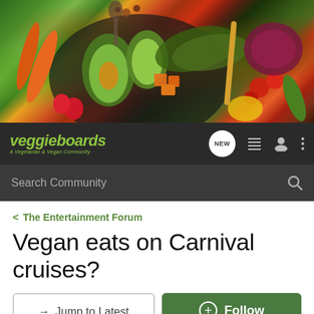[Figure (photo): Hero banner image showing colorful vegetables and fruits including avocados, carrots, tomatoes, red onion, and greens on a dark background]
veggieboards - A Vegetarian & Vegan Community
Search Community
< The Entertainment Forum
Vegan eats on Carnival cruises?
→ Jump to Latest
+ Follow
1 - 2 of 2 Posts
beefaroni · Registered
Joined Sep 6, 2006 · 29 Posts